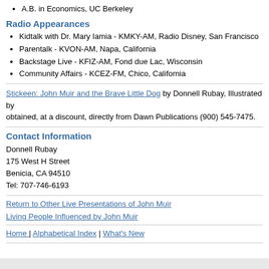A.B. in Economics, UC Berkeley
Radio Appearances
Kidtalk with Dr. Mary Iamia - KMKY-AM, Radio Disney, San Francisco
Parentalk - KVON-AM, Napa, California
Backstage Live - KFIZ-AM, Fond due Lac, Wisconsin
Community Affairs - KCEZ-FM, Chico, California
Stickeen: John Muir and the Brave Little Dog by Donnell Rubay, Illustrated by obtained, at a discount, directly from Dawn Publications (900) 545-7475.
Contact Information
Donnell Rubay
175 West H Street
Benicia, CA 94510
Tel: 707-746-6193
Return to Other Live Presentations of John Muir
Living People Influenced by John Muir
Home | Alphabetical Index | What's New